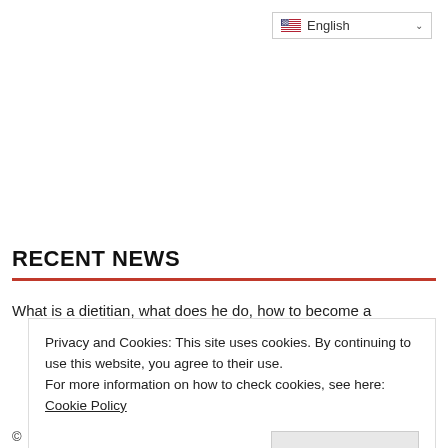[Figure (screenshot): Language selector dropdown showing English with US flag and chevron]
RECENT NEWS
What is a dietitian, what does he do, how to become a
Privacy and Cookies: This site uses cookies. By continuing to use this website, you agree to their use.
For more information on how to check cookies, see here: Cookie Policy
OK
©